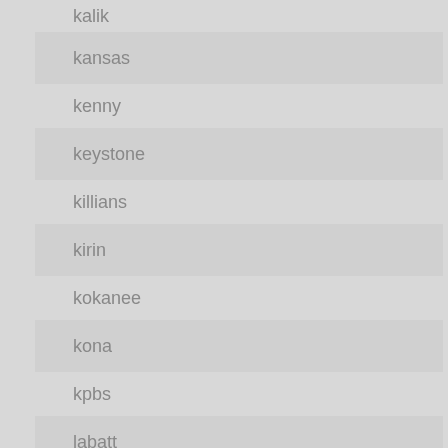kalik
kansas
kenny
keystone
killians
kirin
kokanee
kona
kpbs
labatt
lady
lake
lakefront
lamborghini
landshark